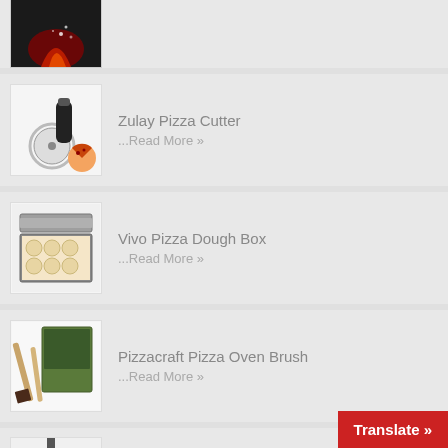[Figure (photo): Partial view of a decorative item with flame/phoenix motif on dark background, only bottom portion visible]
[Figure (photo): Zulay Pizza Cutter product image showing pizza wheel cutter with black handle and a small pizza slice]
Zulay Pizza Cutter
...Read More »
[Figure (photo): Vivo Pizza Dough Box product image showing grey stackable dough proofing box with dough balls inside]
Vivo Pizza Dough Box
...Read More »
[Figure (photo): Pizzacraft Pizza Oven Brush product image showing long-handled oven cleaning brush with product box]
Pizzacraft Pizza Oven Brush
...Read More »
[Figure (photo): Touch of Venetian Pizza Oven product, partial image at bottom of page]
Touch of Venetian Pizza Oven
Translate »